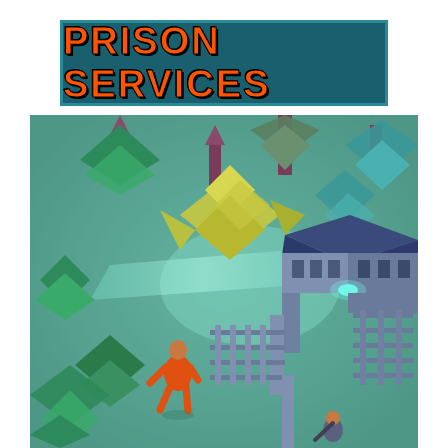PRISON SERVICES
[Figure (screenshot): Isometric 3D low-poly game screenshot showing a prison escape scene. A character in an orange jumpsuit is running through a jungle environment with stylized low-poly palm trees and foliage in teal and green tones. A prison guard tower with a blue pyramidal roof is visible on the right side, with fence/wall structures extending from it. A beam of cyan/teal light sweeps across the scene like a searchlight.]